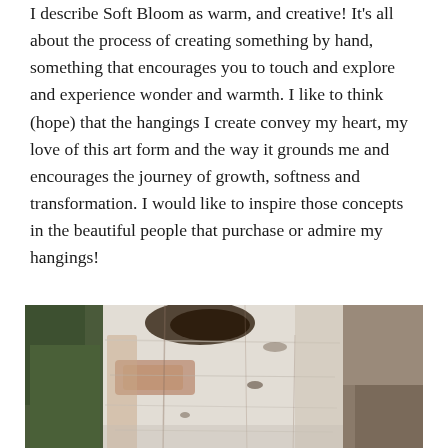I describe Soft Bloom as warm, and creative! It's all about the process of creating something by hand, something that encourages you to touch and explore and experience wonder and warmth. I like to think (hope) that the hangings I create convey my heart, my love of this art form and the way it grounds me and encourages the journey of growth, softness and transformation. I would like to inspire those concepts in the beautiful people that purchase or admire my hangings!
[Figure (photo): Close-up photograph of a birch tree trunk showing white bark with dark markings and patches, with green foliage and rocky/earthy background visible on sides]